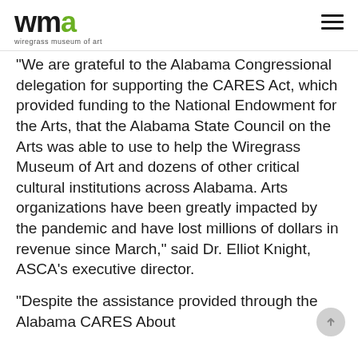wma wiregrass museum of art
“We are grateful to the Alabama Congressional delegation for supporting the CARES Act, which provided funding to the National Endowment for the Arts, that the Alabama State Council on the Arts was able to use to help the Wiregrass Museum of Art and dozens of other critical cultural institutions across Alabama. Arts organizations have been greatly impacted by the pandemic and have lost millions of dollars in revenue since March,” said Dr. Elliot Knight, ASCA’s executive director.
“Despite the assistance provided through the Alabama CARES About